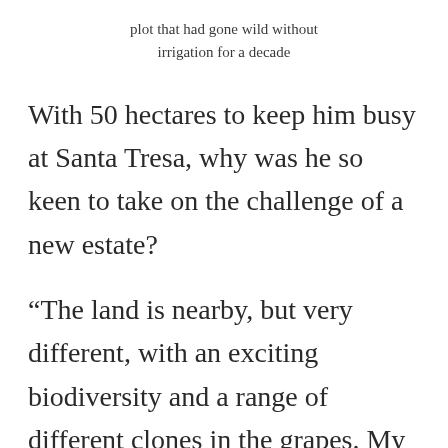plot that had gone wild without irrigation for a decade
With 50 hectares to keep him busy at Santa Tresa, why was he so keen to take on the challenge of a new estate?
“The land is nearby, but very different, with an exciting biodiversity and a range of different clones in the grapes. My team is still assessing them and conducting